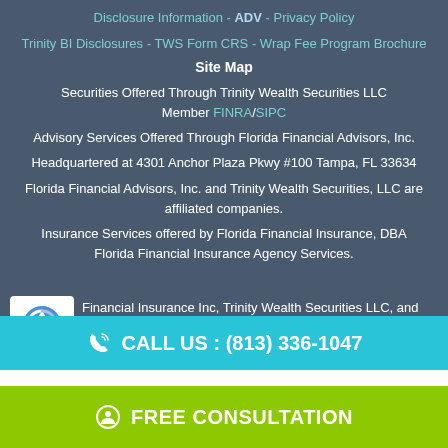Disclosure Information - ADV - Privacy Policy
Trinity BI Disclosures - TWS Form CRS - Wrap Fee Program Brochure
Site Map
Securities Offered Through Trinity Wealth Securities LLC Member FINRA/SIPC
Advisory Services Offered Through Florida Financial Advisors, Inc.
Headquartered at 4301 Anchor Plaza Pkwy #100 Tampa, FL 33634
Florida Financial Advisors, Inc. and Trinity Wealth Securities, LLC are affiliated companies.
Insurance Services offered by Florida Financial Insurance, DBA Florida Financial Insurance Agency Services.
Financial Insurance Inc, Trinity Wealth Securities LLC, and Florida Financial Advisors are affiliated companies.
CALL US : (813) 336-1047
FREE CONSULTATION